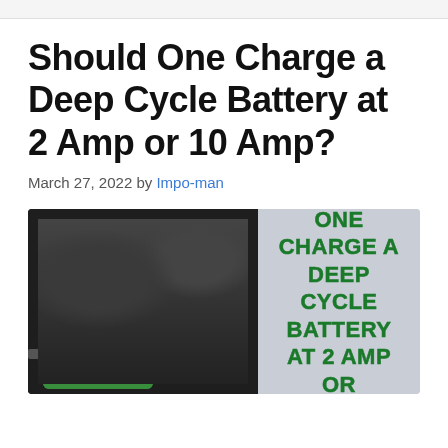Should One Charge a Deep Cycle Battery at 2 Amp or 10 Amp?
March 27, 2022 by Impo-man
[Figure (illustration): Infographic image showing a car engine bay on the left with a green battery charger device, and on the right a gray background with bold green text reading 'SHOULD ONE CHARGE A DEEP CYCLE BATTERY AT 2 AMP OR 10 AMP']